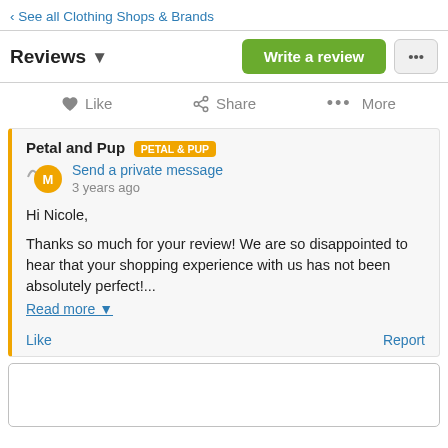‹ See all Clothing Shops & Brands
Reviews
Write a review
Like   Share   More
Petal and Pup  PETAL & PUP
Send a private message
3 years ago

Hi Nicole,

Thanks so much for your review! We are so disappointed to hear that your shopping experience with us has not been absolutely perfect!...
Read more
Like   Report